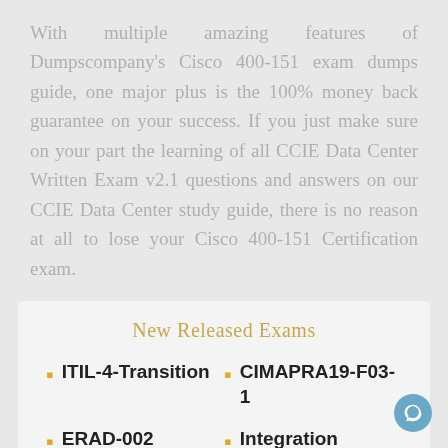With multiple amazing features of Dumpscompany's Cisco 400-151 exam dumps guide, one major plus is the 100% money back guarantee on your success. If you just make sure on your part the learning of all CCIE Data Center Written Exam v2.1 questions and answers on our CCIE Data Center study guide, there is no reason at all to lose your Cisco 400-151 Certification exam.
New Released Exams
ITIL-4-Transition
CIMAPRA19-F03-1
ERAD-002
Integration